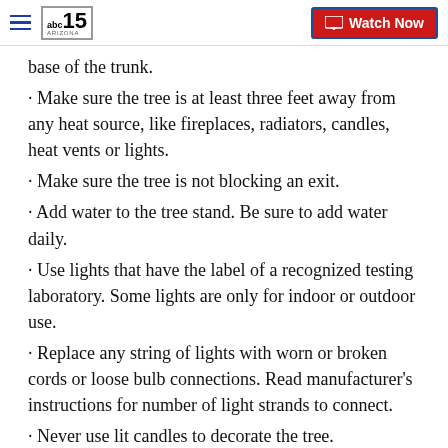abc15 ARIZONA — Watch Now
base of the trunk.
· Make sure the tree is at least three feet away from any heat source, like fireplaces, radiators, candles, heat vents or lights.
· Make sure the tree is not blocking an exit.
· Add water to the tree stand. Be sure to add water daily.
· Use lights that have the label of a recognized testing laboratory. Some lights are only for indoor or outdoor use.
· Replace any string of lights with worn or broken cords or loose bulb connections. Read manufacturer's instructions for number of light strands to connect.
· Never use lit candles to decorate the tree.